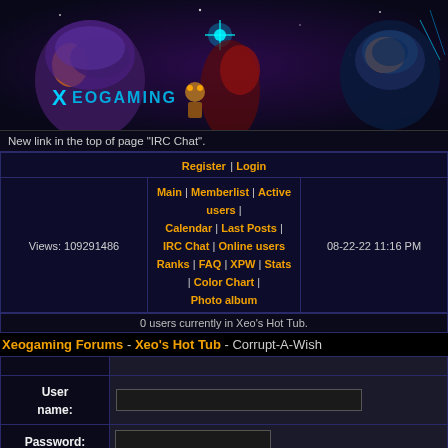[Figure (illustration): Xeogaming banner with sci-fi characters and logo 'Xeogaming' in cyan text on dark purple/space background]
New link in the top of page "IRC Chat".
Register | Login
Views: 109291486
Main | Memberlist | Active users | Calendar | Last Posts | IRC Chat | Online users
Ranks | FAQ | XPW | Stats | Color Chart | Photo album
08-22-22 11:16 PM
0 users currently in Xeo's Hot Tub.
Xeogaming Forums - Xeo's Hot Tub - Corrupt-A-Wish
User name:
Password:
[quote=WhiteRose]Granted, but you will never learn how to ma

I wish I had the world's most delicious smore. No seriously, I'm